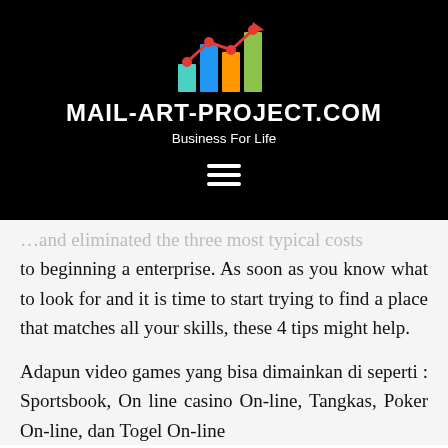[Figure (logo): Bar chart logo with upward trending line and dots in red, with colored bars (teal, blue, orange, green) on black background]
MAIL-ART-PROJECT.COM
Business For Life
[Figure (other): Hamburger menu icon (three white horizontal lines) on black background]
...and eliminated the three most typical costs to beginning a enterprise. As soon as you know what to look for and it is time to start trying to find a place that matches all your skills, these 4 tips might help.
Adapun video games yang bisa dimainkan di seperti : Sportsbook, On line casino On-line, Tangkas, Poker On-line, dan Togel On-line